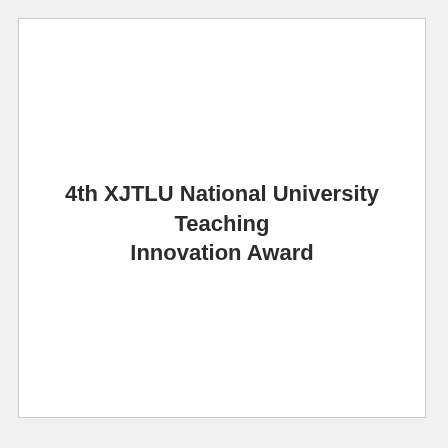4th XJTLU National University Teaching Innovation Award